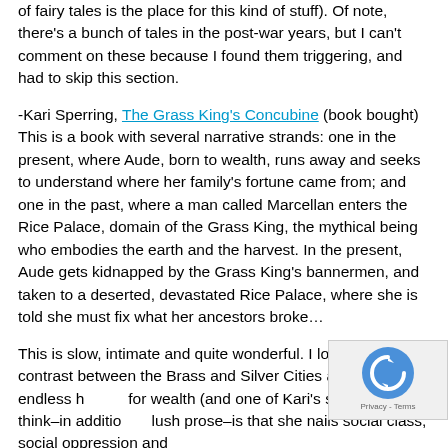of fairy tales is the place for this kind of stuff). Of note, there's a bunch of tales in the post-war years, but I can't comment on these because I found them triggering, and had to skip this section.
-Kari Sperring, The Grass King's Concubine (book bought)  This is a book with several narrative strands: one in the present, where Aude, born to wealth, runs away and seeks to understand where her family's fortune came from; and one in the past, where a man called Marcellan enters the Rice Palace, domain of the Grass King, the mythical being who embodies the earth and the harvest. In the present, Aude gets kidnapped by the Grass King's bannermen, and taken to a deserted, devastated Rice Palace, where she is told she must fix what her ancestors broke…
This is slow, intimate and quite wonderful. I love the contrast between the Brass and Silver Cities and their endless hunger for wealth (and one of Kari's strengths, I think–in addition to lush prose–is that she nails social class, social oppression and